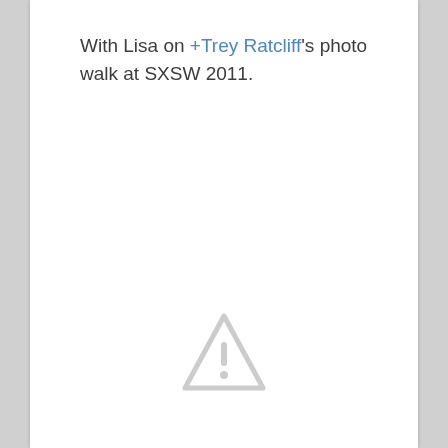With Lisa on +Trey Ratcliff's photo walk at SXSW 2011.
[Figure (other): A light grey warning/caution triangle icon with an exclamation mark, indicating a missing or broken image placeholder.]